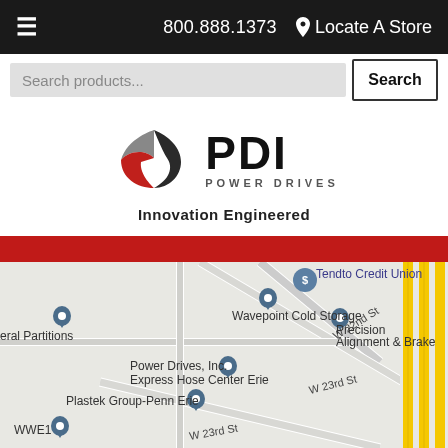≡  800.888.1373  📍 Locate A Store
[Figure (screenshot): Search bar with text 'Search products...' and a Search button]
[Figure (logo): PDI Power Drives logo with tagline 'Innovation Engineered']
[Figure (map): Google Maps screenshot showing Power Drives, Inc. Express Hose Center Erie location with nearby landmarks: Tendto Credit Union, Wavepoint Cold Storage, Precision Alignment & Brake, Plastek Group-Penn Erie, WWE1, General Partitions. Streets shown: W 22nd St, W 23rd St.]